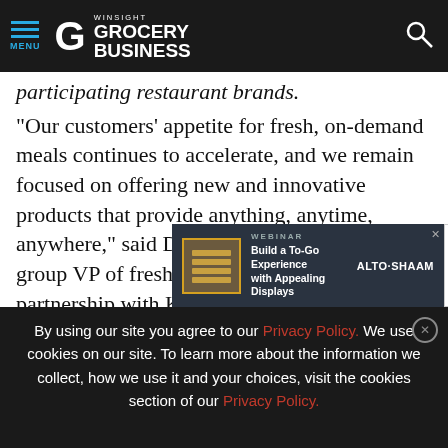MENU | WINSIGHT GROCERY BUSINESS
participating restaurant brands.
"Our customers' appetite for fresh, on-demand meals continues to accelerate, and we remain focused on offering new and innovative products that provide anything, anytime, anywhere," said Dan De La Rosa, Kroger's group VP of fresh merchandising. "Our partnership with Kitchen United taps into restaura[nt] growing [demand for] custome[rs]
[Figure (screenshot): Advertisement banner: WEBINAR - Build a To-Go Experience with Appealing Displays - ALTO-SHAAM]
By using our site you agree to our Privacy Policy. We use cookies on our site. To learn more about the information we collect, how we use it and your choices, visit the cookies section of our Privacy Policy.